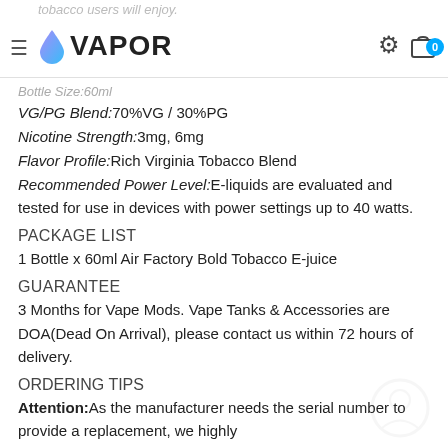tobacco users will enjoy. VAPOR (logo) [gear icon] [bag icon with badge 0]
Bottle Size:60ml
VG/PG Blend:70%VG / 30%PG
Nicotine Strength:3mg, 6mg
Flavor Profile:Rich Virginia Tobacco Blend
Recommended Power Level:E-liquids are evaluated and tested for use in devices with power settings up to 40 watts.
PACKAGE LIST
1 Bottle x 60ml Air Factory Bold Tobacco E-juice
GUARANTEE
3 Months for Vape Mods. Vape Tanks & Accessories are DOA(Dead On Arrival), please contact us within 72 hours of delivery.
ORDERING TIPS
Attention:As the manufacturer needs the serial number to provide a replacement, we highly